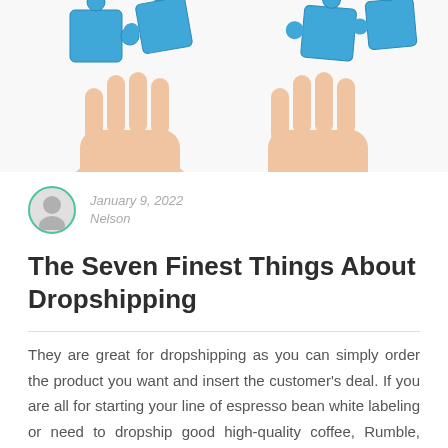[Figure (photo): Hands holding blue puzzle pieces on white background]
January 9, 2022
Nelson
The Seven Finest Things About Dropshipping
They are great for dropshipping as you can simply order the product you want and insert the customer's deal. If you are all for starting your line of espresso bean white labeling or need to dropship good high-quality coffee, Rumble, Espresso